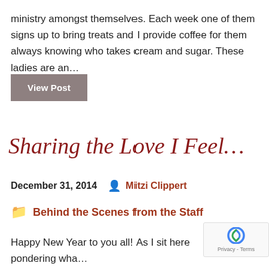ministry amongst themselves. Each week one of them signs up to bring treats and I provide coffee for them always knowing who takes cream and sugar. These ladies are an…
View Post
Sharing the Love I Feel…
December 31, 2014   Mitzi Clippert
Behind the Scenes from the Staff
Happy New Year to you all! As I sit here pondering wha… write, all of you came to my mind to remind me of how…
[Figure (other): reCAPTCHA logo with Privacy - Terms text]